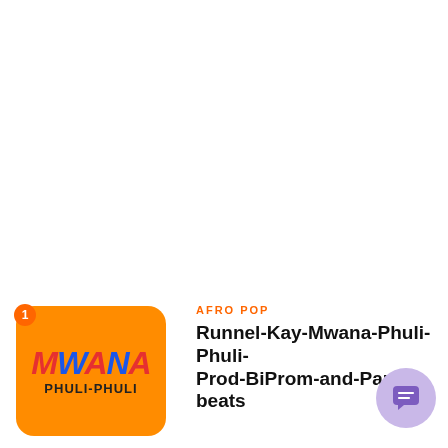[Figure (illustration): Orange rounded rectangle album art with 'MWANA' in red and blue italic bold text and 'PHULI-PHULI' in black text below, with notification badge showing '1']
AFRO POP
Runnel-Kay-Mwana-Phuli-Phuli-Prod-BiProm-and-Pan-beats